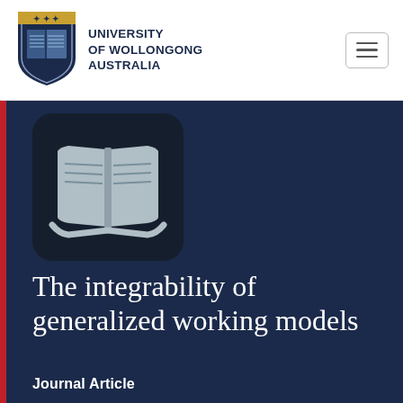UNIVERSITY OF WOLLONGONG AUSTRALIA
[Figure (logo): University of Wollongong shield/crest logo]
[Figure (illustration): Open book icon in dark rounded square]
The integrability of generalized working models
Journal Article